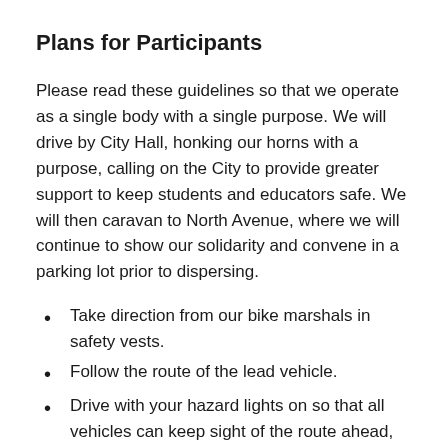Plans for Participants
Please read these guidelines so that we operate as a single body with a single purpose. We will drive by City Hall, honking our horns with a purpose, calling on the City to provide greater support to keep students and educators safe. We will then caravan to North Avenue, where we will continue to show our solidarity and convene in a parking lot prior to dispersing.
Take direction from our bike marshals in safety vests.
Follow the route of the lead vehicle.
Drive with your hazard lights on so that all vehicles can keep sight of the route ahead, keeping 10 feet between cars.